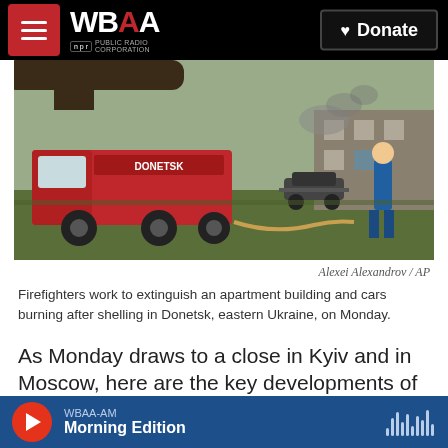WBAA | Donate
[Figure (photo): Firefighters and a fire truck (labeled DONETSK) at a scene with burning vehicles and debris in eastern Ukraine]
Alexei Alexandrov / AP
Firefighters work to extinguish an apartment building and cars burning after shelling in Donetsk, eastern Ukraine, on Monday.
As Monday draws to a close in Kyiv and in Moscow, here are the key developments of the day:
Russian troops are pushing to fully encircle the key city of Sievierodonetsk in eastern Ukraine,